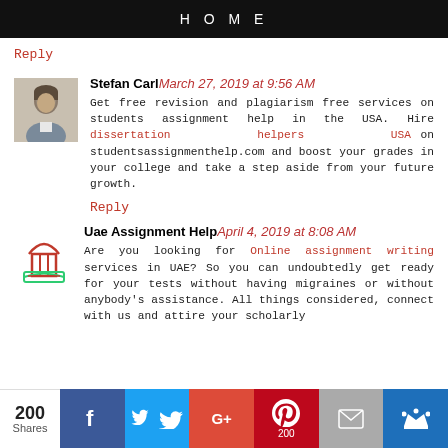HOME
Reply
Stefan Carl March 27, 2019 at 9:56 AM
Get free revision and plagiarism free services on students assignment help in the USA. Hire dissertation helpers USA on studentsassignmenthelp.com and boost your grades in your college and take a step aside from your future growth.
Reply
Uae Assignment Help April 4, 2019 at 8:08 AM
Are you looking for Online assignment writing services in UAE? So you can undoubtedly get ready for your tests without having migraines or without anybody's assistance. All things considered, connect with us and attire your scholarly
200 Shares | Facebook | Twitter | Google+ | Pinterest 200 | Email | Crown